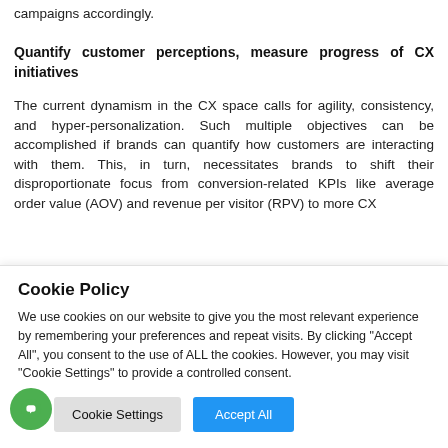campaigns accordingly.
Quantify customer perceptions, measure progress of CX initiatives
The current dynamism in the CX space calls for agility, consistency, and hyper-personalization. Such multiple objectives can be accomplished if brands can quantify how customers are interacting with them. This, in turn, necessitates brands to shift their disproportionate focus from conversion-related KPIs like average order value (AOV) and revenue per visitor (RPV) to more CX
Cookie Policy
We use cookies on our website to give you the most relevant experience by remembering your preferences and repeat visits. By clicking "Accept All", you consent to the use of ALL the cookies. However, you may visit "Cookie Settings" to provide a controlled consent.